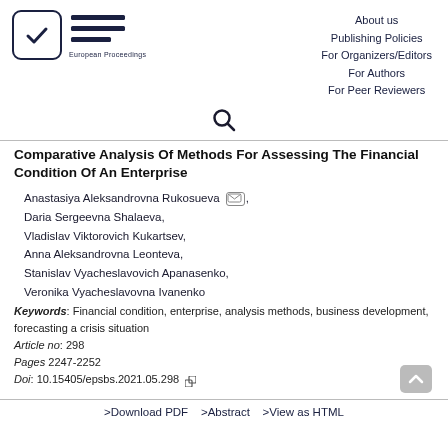European Proceedings | About us | Publishing Policies | For Organizers/Editors | For Authors | For Peer Reviewers
Comparative Analysis Of Methods For Assessing The Financial Condition Of An Enterprise
Anastasiya Aleksandrovna Rukosueva, Daria Sergeevna Shalaeva, Vladislav Viktorovich Kukartsev, Anna Aleksandrovna Leonteva, Stanislav Vyacheslavovich Apanasenko, Veronika Vyacheslavovna Ivanenko
Keywords: Financial condition, enterprise, analysis methods, business development, forecasting a crisis situation
Article no: 298
Pages 2247-2252
Doi: 10.15405/epsbs.2021.05.298
>Download PDF   >Abstract   >View as HTML